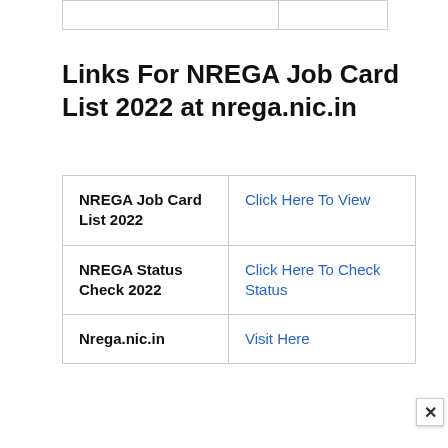Links For NREGA Job Card List 2022 at nrega.nic.in
| NREGA Job Card List 2022 | Click Here To View |
| NREGA Status Check 2022 | Click Here To Check Status |
| Nrega.nic.in | Visit Here |